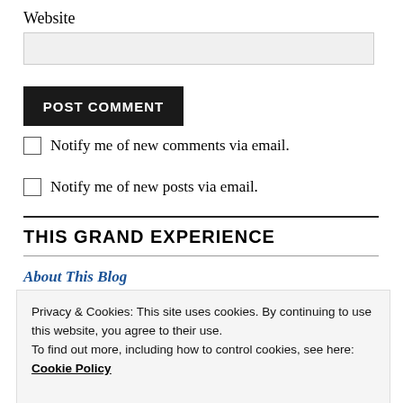Website
POST COMMENT
Notify me of new comments via email.
Notify me of new posts via email.
THIS GRAND EXPERIENCE
About This Blog
Privacy & Cookies: This site uses cookies. By continuing to use this website, you agree to their use.
To find out more, including how to control cookies, see here: Cookie Policy
Close and accept